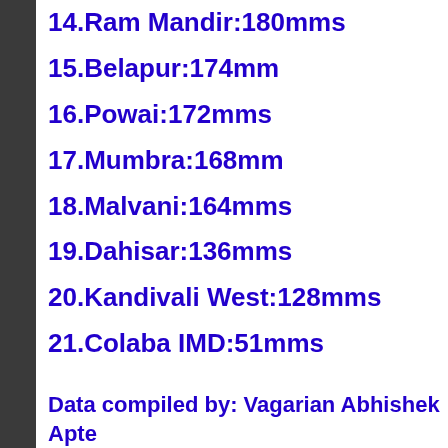14.Ram Mandir:180mms
15.Belapur:174mm
16.Powai:172mms
17.Mumbra:168mm
18.Malvani:164mms
19.Dahisar:136mms
20.Kandivali West:128mms
21.Colaba IMD:51mms
Data compiled by: Vagarian Abhishek Apte
Posted 9th June...Updated at 3.15 pm IST
Heavy rains for Mumbai today.. Thunder showers